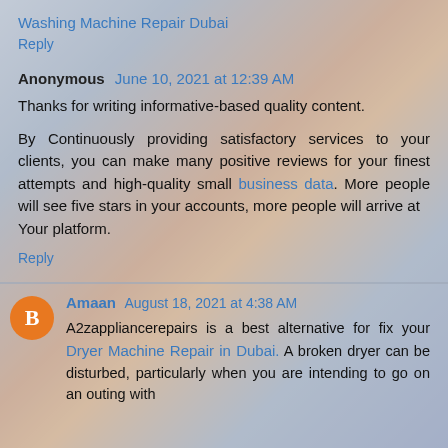Washing Machine Repair Dubai
Reply
Anonymous June 10, 2021 at 12:39 AM
Thanks for writing informative-based quality content.
By Continuously providing satisfactory services to your clients, you can make many positive reviews for your finest attempts and high-quality small business data. More people will see five stars in your accounts, more people will arrive at Your platform.
Reply
Amaan August 18, 2021 at 4:38 AM
A2zappliancerepairs is a best alternative for fix your Dryer Machine Repair in Dubai. A broken dryer can be disturbed, particularly when you are intending to go on an outing with